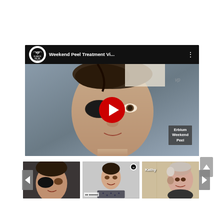[Figure (screenshot): YouTube video player showing 'Weekend Peel Treatment Vi...' with a woman wearing dark eye protectors, an Erbium Weekend Peel label overlay, and a red play button. Below are three video thumbnails with left/right navigation arrows and a scroll-up button. The channel logo shows 'vp' (nuance facial aesthetics).]